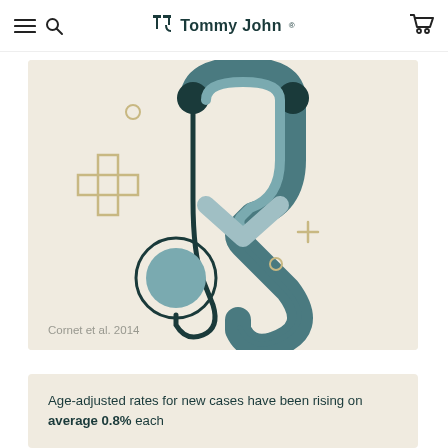Tommy John
[Figure (illustration): Medical illustration showing a stethoscope with decorative cross and plus signs on a beige background. The stethoscope has teal/dark teal coloring with a circular chest piece at the bottom left. Decorative elements include a small circle, a medical cross outline, and plus signs in gold/tan color.]
Cornet et al. 2014
Age-adjusted rates for new cases have been rising on average 0.8% each